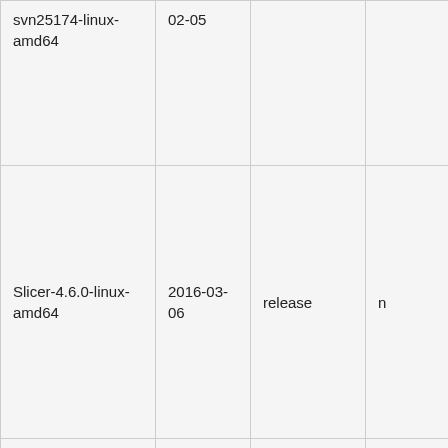| Name | Date | Type | ... |
| --- | --- | --- | --- |
| svn25174-linux-amd64 | 02-05 |  |  |
| Slicer-4.6.0-linux-amd64 | 2016-03-06 | release | n |
| ... | ... | ... | ... |
| Slicer-4.6.0-... |  |  |  |